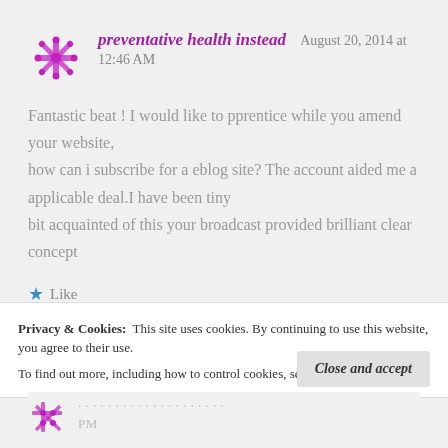preventative health instead   August 20, 2014 at 12:46 AM
Fantastic beat ! I would like to pprentice while you amend your website, how can i subscribe for a eblog site? The account aided me a applicable deal.I have been tiny bit acquainted of this your broadcast provided brilliant clear concept
Like
Privacy & Cookies:  This site uses cookies. By continuing to use this website, you agree to their use. To find out more, including how to control cookies, see here: Cookie Policy
Close and accept